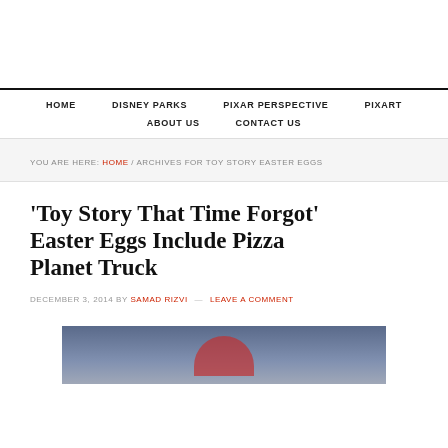HOME / DISNEY PARKS / PIXAR PERSPECTIVE / PIXART / ABOUT US / CONTACT US
YOU ARE HERE: HOME / ARCHIVES FOR TOY STORY EASTER EGGS
'Toy Story That Time Forgot' Easter Eggs Include Pizza Planet Truck
DECEMBER 3, 2014 BY SAMAD RIZVI — LEAVE A COMMENT
[Figure (photo): Partial photo of a Toy Story character, dark blue background]